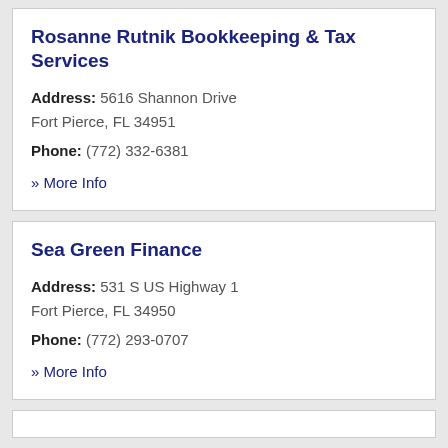Rosanne Rutnik Bookkeeping & Tax Services
Address: 5616 Shannon Drive Fort Pierce, FL 34951
Phone: (772) 332-6381
» More Info
Sea Green Finance
Address: 531 S US Highway 1 Fort Pierce, FL 34950
Phone: (772) 293-0707
» More Info